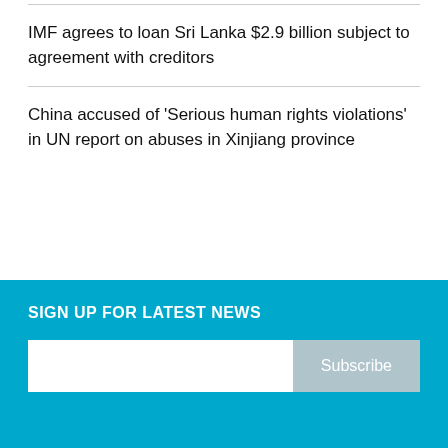IMF agrees to loan Sri Lanka $2.9 billion subject to agreement with creditors
China accused of 'Serious human rights violations' in UN report on abuses in Xinjiang province
SIGN UP FOR LATEST NEWS